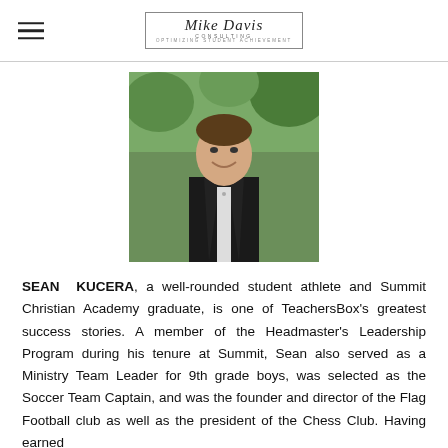Mike Davis Consulting — Optimizing Student Achievement
[Figure (photo): Young man in black tuxedo with bow tie, smiling, outdoors with trees in background]
SEAN KUCERA, a well-rounded student athlete and Summit Christian Academy graduate, is one of TeachersBox's greatest success stories. A member of the Headmaster's Leadership Program during his tenure at Summit, Sean also served as a Ministry Team Leader for 9th grade boys, was selected as the Soccer Team Captain, and was the founder and director of the Flag Football club as well as the president of the Chess Club. Having earned